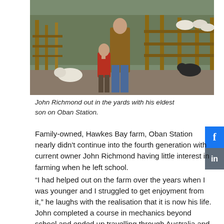[Figure (photo): A man in a brown jacket standing with a young child in a red jacket at farm yards with sheep and wooden fencing visible.]
John Richmond out in the yards with his eldest son on Oban Station.
Family-owned, Hawkes Bay farm, Oban Station nearly didn't continue into the fourth generation with current owner John Richmond having little interest in farming when he left school.
“I had helped out on the farm over the years when I was younger and I struggled to get enjoyment from it,” he laughs with the realisation that it is now his life.
John completed a course in mechanics beyond school and ended up travelling through Australia and America driving grape harvesters.
“I also went to England and did the typical Kiwi OE for a